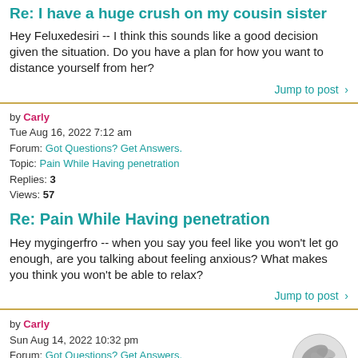Re: I have a huge crush on my cousin sister
Hey Feluxedesiri -- I think this sounds like a good decision given the situation. Do you have a plan for how you want to distance yourself from her?
Jump to post >
by Carly
Tue Aug 16, 2022 7:12 am
Forum: Got Questions? Get Answers.
Topic: Pain While Having penetration
Replies: 3
Views: 57
Re: Pain While Having penetration
Hey mygingerfro -- when you say you feel like you won't let go enough, are you talking about feeling anxious? What makes you think you won't be able to relax?
Jump to post >
by Carly
Sun Aug 14, 2022 10:32 pm
Forum: Got Questions? Get Answers.
Topic: I'm 14 and watch hardcore bdsm porn.
Replies: 1
Views: 48
[Figure (illustration): Gray swirling avatar/profile image]